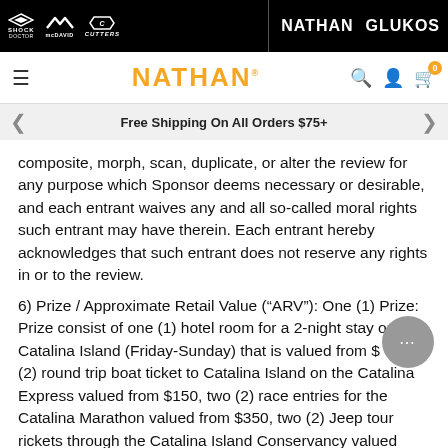[Figure (screenshot): Sponsor navigation bar with logos: Shock Doctor, McDavid, Cutters, Nathan, Glukos on black background]
[Figure (screenshot): Nathan brand navigation bar with hamburger menu, Nathan logo in orange, search icon, user icon, and cart icon with badge showing 0]
[Figure (screenshot): Gray shipping banner with left and right arrows and text: Free Shipping On All Orders $75+]
composite, morph, scan, duplicate, or alter the review for any purpose which Sponsor deems necessary or desirable, and each entrant waives any and all so-called moral rights such entrant may have therein. Each entrant hereby acknowledges that such entrant does not reserve any rights in or to the review.
6) Prize / Approximate Retail Value (“ARV”): One (1) Prize: Prize consist of one (1) hotel room for a 2-night stay on Catalina Island (Friday-Sunday) that is valued from $ (2) round trip boat ticket to Catalina Island on the Catalina Express valued from $150, two (2) race entries for the Catalina Marathon valued from $350, two (2) Jeep tour rickets through the Catalina Island Conservancy valued from